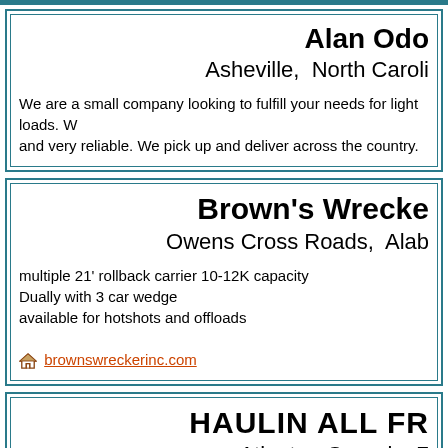Alan Odo
Asheville,  North Caroli
We are a small company looking to fulfill your needs for light loads. W and very reliable. We pick up and deliver across the country.
Brown's Wrecke
Owens Cross Roads,  Alab
multiple 21' rollback carrier 10-12K capacity
Dually with 3 car wedge
available for hotshots and offloads
brownswreckerinc.com
HAULIN ALL FR
Atlanta,  Georgia  7
We are a "Hot Shot" trucking company based out of Atlanta, Ga. that a 43ft Flatbed gooseneck trailer for hauling freight. The trailer can also 1200lb winch mounted on the 10ft upper deck over the gooseneck wh